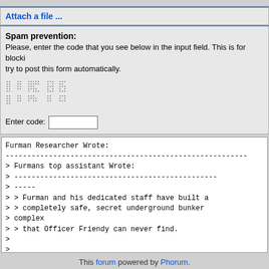Attach a file ...
Spam prevention:
Please, enter the code that you see below in the input field. This is for blocking try to post this form automatically.
[Figure (other): CAPTCHA image with dotted/pixelated characters]
Enter code:
Furman Researcher Wrote:
--------------------------------------------------------
> Furmans top assistant Wrote:
> -----------------------------------------------
> -----
> > Furman and his dedicated staff have built a
> > completely safe, secret underground bunker
> complex
> > that Officer Friendy can never find.
>
>
> So in this thread we have that skinny Jew Lee
> Highway Greg and now a reference to Yosue Rios and
> his Van Dyke park bunker. I will narrow down
> Furman's true identity soon!
This forum powered by Phorum.